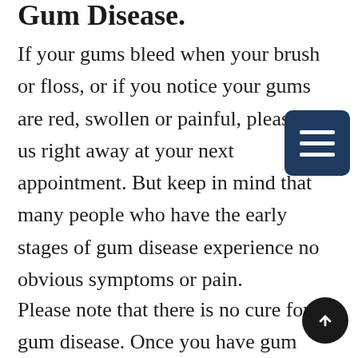Gum Disease.
If your gums bleed when your brush or floss, or if you notice your gums are red, swollen or painful, please tell us right away at your next appointment. But keep in mind that many people who have the early stages of gum disease experience no obvious symptoms or pain.
Please note that there is no cure for gum disease. Once you have gum disease it can be treated &